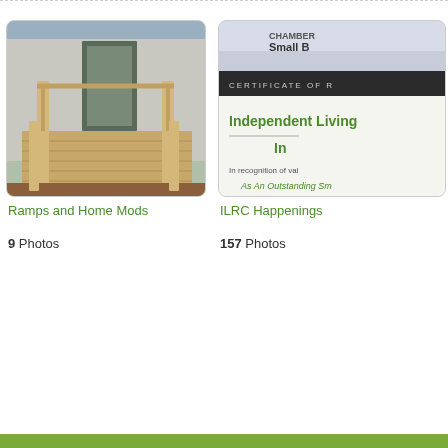[Figure (photo): Photo of a wooden wheelchair ramp with handrails leading to a mobile home entrance, surrounded by mulch/leaves]
Ramps and Home Mods
9 Photos
[Figure (photo): Partially visible certificate from Chamber, showing 'Small B...' and 'CERTIFICATE OF R...' text, with 'Independent Living...' and 'In recognition of val...' and 'As An Outstanding Sm...' text in green]
ILRC Happenings
157 Photos